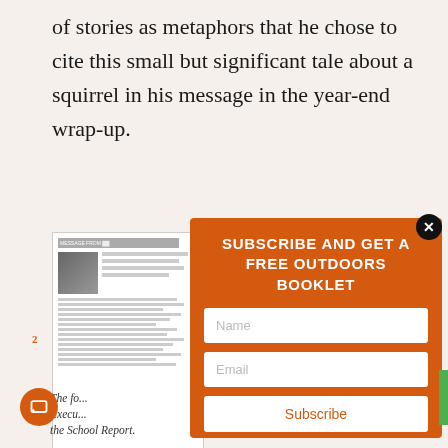of stories as metaphors that he chose to cite this small but significant tale about a squirrel in his message in the year-end wrap-up.
[Figure (screenshot): Blurred article thumbnail showing a magazine page with an image and text columns]
[Figure (screenshot): Modal popup with orange background titled SUBSCRIBE AND GET A FREE OUTDOORS BOOKLET with Name field, Email field, and Subscribe button, and a close X button]
2  The fo... Execu... the School Report.